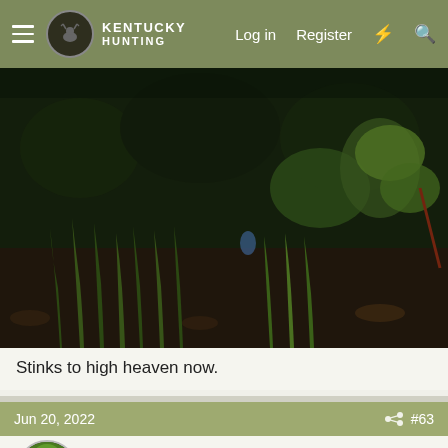Kentucky Hunting — Log in  Register
[Figure (photo): Dark outdoor photo of dense forest undergrowth with green plants, grass, and fallen leaves on the ground]
Stinks to high heaven now.
Jun 20, 2022  #63
HuntressOfLight
12 pointer